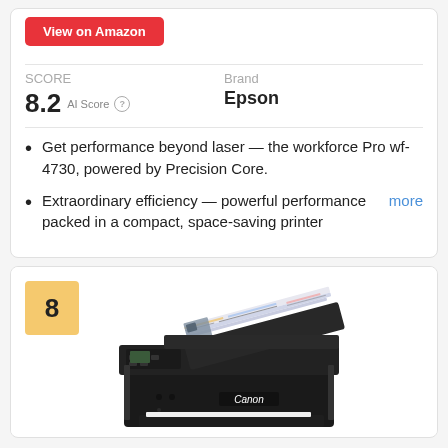[Figure (other): Red 'View on Amazon' button]
SCORE
8.2  AI Score
Brand
Epson
Get performance beyond laser — the workforce Pro wf-4730, powered by Precision Core.
Extraordinary efficiency — powerful performance packed in a compact, space-saving printermore
8
[Figure (photo): Canon all-in-one printer/fax machine with documents being fed into the automatic document feeder from above]